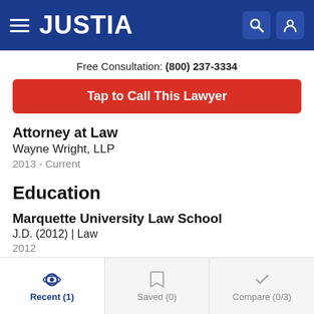JUSTIA
Free Consultation: (800) 237-3334
Tap to Call This Lawyer
Attorney at Law
Wayne Wright, LLP
2013 - Current
Education
Marquette University Law School
J.D. (2012) | Law
2012
St. Mary's University
Recent (1)   Saved (0)   Compare (0/3)